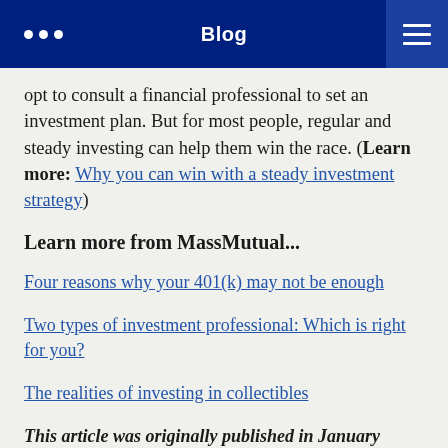Blog
opt to consult a financial professional to set an investment plan. But for most people, regular and steady investing can help them win the race. (Learn more: Why you can win with a steady investment strategy)
Learn more from MassMutual...
Four reasons why your 401(k) may not be enough
Two types of investment professional: Which is right for you?
The realities of investing in collectibles
This article was originally published in January 2019. It has been updated.